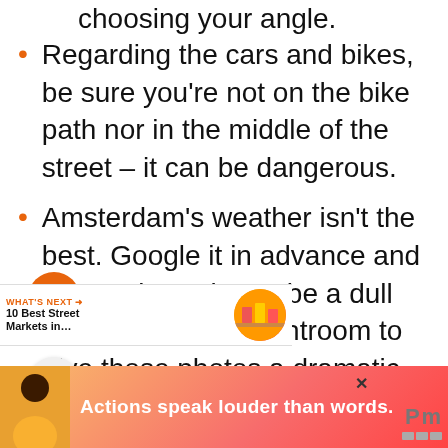choosing your angle.
Regarding the cars and bikes, be sure you're not on the bike path nor in the middle of the street – it can be dangerous.
Amsterdam's weather isn't the best. Google it in advance and in case it's going to be a dull day, learn some Lightroom to give those photos a dramatic look.
You might want to rent a bike to follow